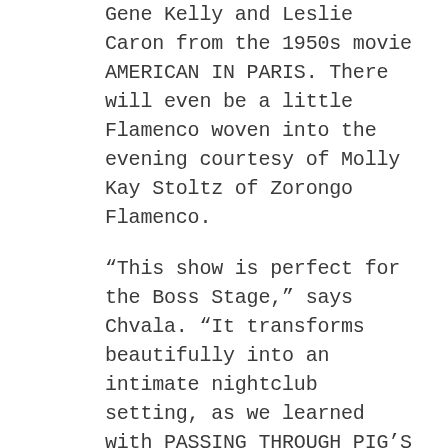Gene Kelly and Leslie Caron from the 1950s movie AMERICAN IN PARIS. There will even be a little Flamenco woven into the evening courtesy of Molly Kay Stoltz of Zorongo Flamenco.
“This show is perfect for the Boss Stage,” says Chvala. “It transforms beautifully into an intimate nightclub setting, as we learned with PASSING THROUGH PIG’S EYE last summer. More than that, the lobby, its proximity to the Dakota’s Vieux-Carré jazz club and the whole ambiance of the Historic Hamm Building put you in the right mood for the atmosphere we’re creating.”